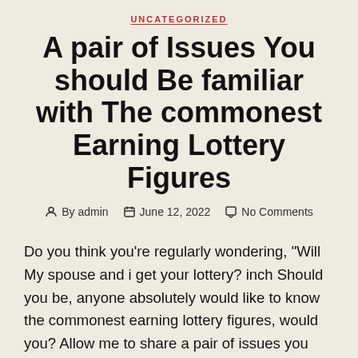UNCATEGORIZED
A pair of Issues You should Be familiar with The commonest Earning Lottery Figures
By admin   June 12, 2022   No Comments
Do you think you're regularly wondering, “Will My spouse and i get your lottery? inch Should you be, anyone absolutely would like to know the commonest earning lottery figures, would you? Allow me to share a pair of issues you should be □□□□□ familiar with these kind of figures. Recognize these kind of facts with